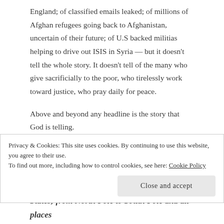England; of classified emails leaked; of millions of Afghan refugees going back to Afghanistan, uncertain of their future; of U.S backed militias helping to drive out ISIS in Syria — but it doesn't tell the whole story. It doesn't tell of the many who give sacrificially to the poor, who tirelessly work toward justice, who pray daily for peace.
Above and beyond any headline is the story that God is telling.
And the story God is telling is not about a country. It is not the story of red and blue, of donkey and elephant, of Clinton and Trump. It is not an American story. The story God is telling is a worldwide story of people and
Privacy & Cookies: This site uses cookies. By continuing to use this website, you agree to their use.
To find out more, including how to control cookies, see here: Cookie Policy
Close and accept
States; from North Pole to South Pole and all places